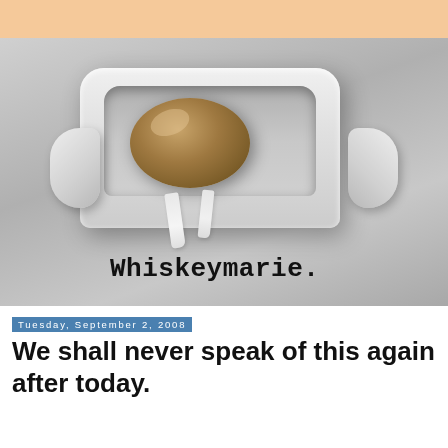[Figure (photo): Photo of an empty cardboard toilet paper roll sitting in a white ceramic wall-mounted toilet paper holder, with small torn paper bits hanging down. The blog name 'Whiskeymarie.' is overlaid in bold serif/typewriter font at the bottom of the image.]
Tuesday, September 2, 2008
We shall never speak of this again after today.